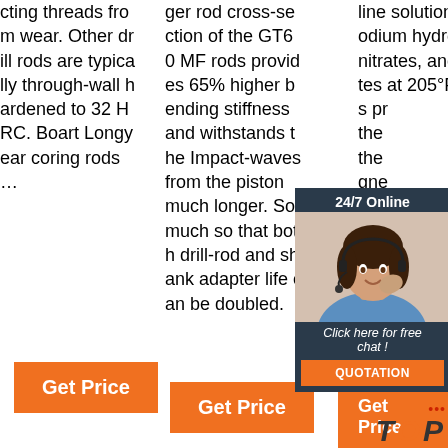cting threads from wear. Other drill rods are typically through-wall hardened to 32 HRC. Boart Longyear coring rods ...
ger rod cross-section of the GT60 MF rods provides 65% higher bending stiffness and withstands the Impact-waves from the piston much longer. So much so that both drill-rod and shank adapter life can be doubled.
line solution of sodium hydroxide, nitrates, and nitrites at 205°F. This process the the magnetic 4) with the finish
[Figure (photo): Customer service representative with headset, chat widget overlay with '24/7 Online' header, 'Click here for free chat!' text, and orange QUOTATION button]
Get Price (button, column 1)
Get Price (button, column 2)
Get Price (button, column 3)
[Figure (logo): TOP badge with orange dots and stylized text]